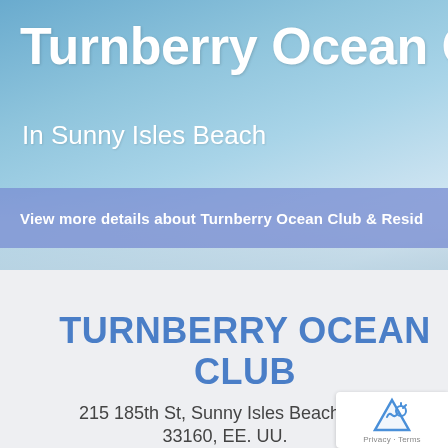[Figure (screenshot): Hero banner with sky/ocean background showing partial title 'Turnberry Ocean C' (clipped) and subtitle 'In Sunny Isles Beach']
Turnberry Ocean C
In Sunny Isles Beach
View more details about Turnberry Ocean Club & Resid
TURNBERRY OCEAN CLUB
215 185th St, Sunny Isles Beach, FL 33160, EE. UU.